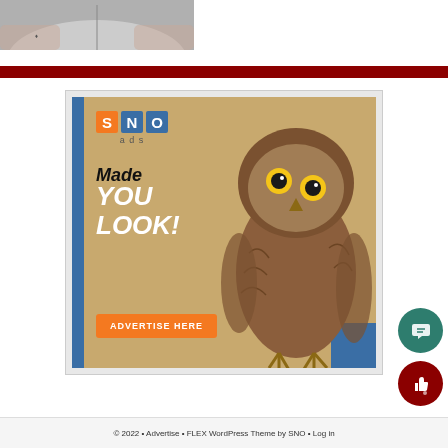[Figure (photo): Black and white photo of person reading a book, cropped at top]
[Figure (illustration): SNO ads advertisement banner featuring an owl with text 'Made YOU LOOK!' and 'ADVERTISE HERE' button on tan/blue background]
© 2022 • Advertise • FLEX WordPress Theme by SNO • Log in